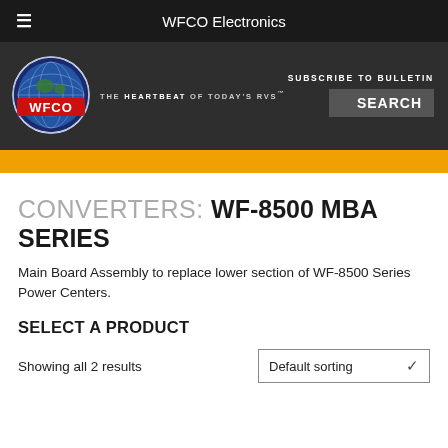WFCO Electronics
[Figure (logo): WFCO Electronics logo: globe with WFCO text in red and tagline 'THE HEARTBEAT OF TODAY'S RVS']
CONVERTERS: WF-8500 MBA SERIES
Main Board Assembly to replace lower section of WF-8500 Series Power Centers.
SELECT A PRODUCT
Showing all 2 results